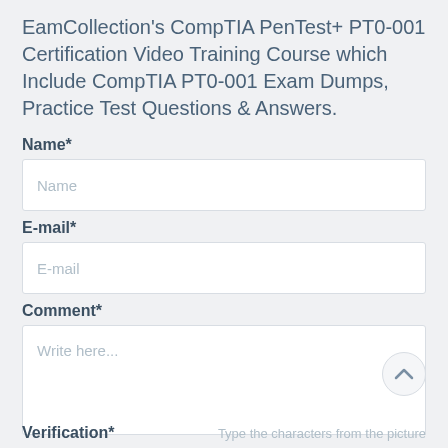EamCollection's CompTIA PenTest+ PT0-001 Certification Video Training Course which Include CompTIA PT0-001 Exam Dumps, Practice Test Questions & Answers.
Name*
E-mail*
Comment*
Verification*
Type the characters from the picture